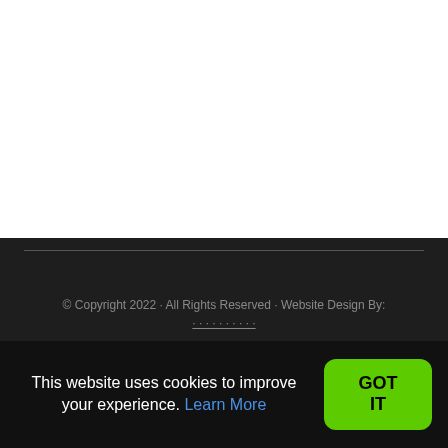© Copyright 2022 · All Rights Reserved · Website Design By:
This website uses cookies to improve your experience. Learn More
GOT IT